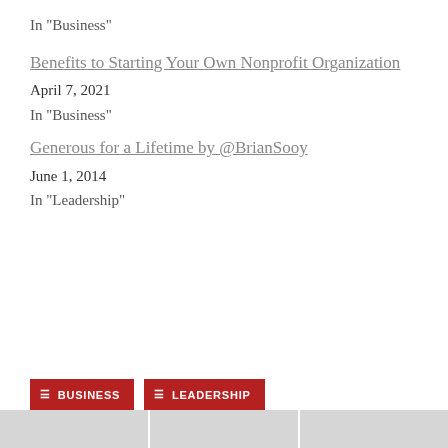In "Business"
Benefits to Starting Your Own Nonprofit Organization
April 7, 2021
In "Business"
Generous for a Lifetime by @BrianSooy
June 1, 2014
In "Leadership"
BUSINESS   LEADERSHIP